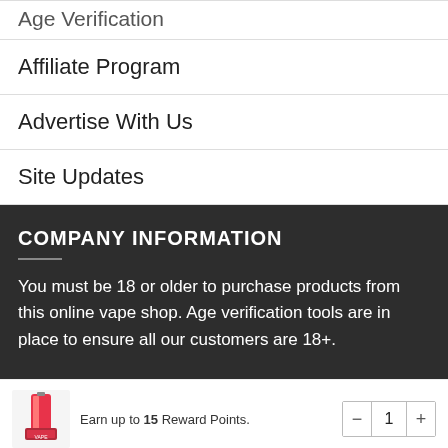Age Verification
Affiliate Program
Advertise With Us
Site Updates
COMPANY INFORMATION
You must be 18 or older to purchase products from this online vape shop. Age verification tools are in place to ensure all our customers are 18+.
Earn up to 15 Reward Points.
ADD TO BASKET